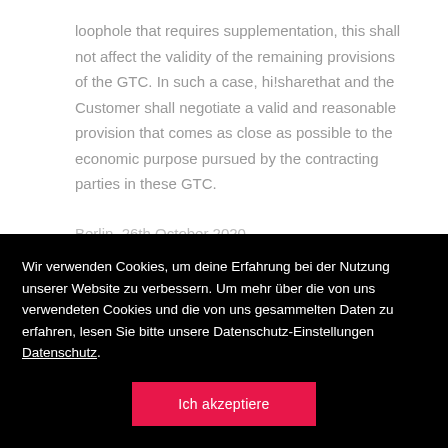loophole that requires supplementation, this shall not affect the validity of the remaining provisions of the GTC. In such a case, hi!sharethat and the Customer shall negotiate a valid and reasonable provision that comes as close as possible to the economic purpose pursued by the contracting parties in these GTC.
Berlin, 26th October 2020
Wir verwenden Cookies, um deine Erfahrung bei der Nutzung unserer Website zu verbessern. Um mehr über die von uns verwendeten Cookies und die von uns gesammelten Daten zu erfahren, lesen Sie bitte unsere Datenschutz-Einstellungen Datenschutz.